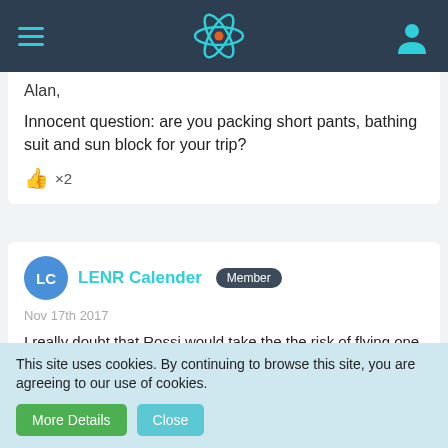[Figure (screenshot): Navigation bar with hamburger menu icon, React-style atom logo, and user profile icon on dark background]
Alan,
Innocent question: are you packing short pants, bathing suit and sun block for your trip?
👍 ×2
LENR Calender Member
Nov 17th 2017
I really doubt that Rossi would take the the risk of flying one of his prized σ5Qx to Sweden.
Shane D. Moderator
This site uses cookies. By continuing to browse this site, you are agreeing to our use of cookies.